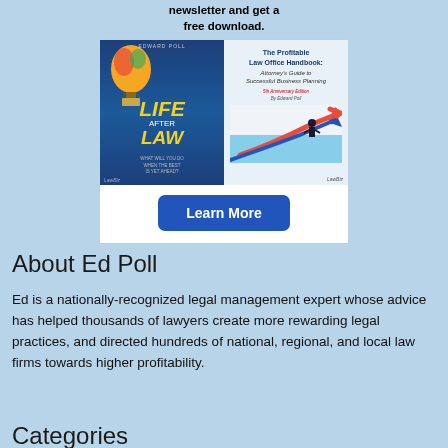[Figure (illustration): Advertisement banner for Ed Poll's books and newsletter. Shows two book covers: 'Life After Law' and 'The Profitable Law Office Handbook: Attorney's Guide to Successful Business Planning' with a 'Learn More' button below.]
About Ed Poll
Ed is a nationally-recognized legal management expert whose advice has helped thousands of lawyers create more rewarding legal practices, and directed hundreds of national, regional, and local law firms towards higher profitability.
Categories